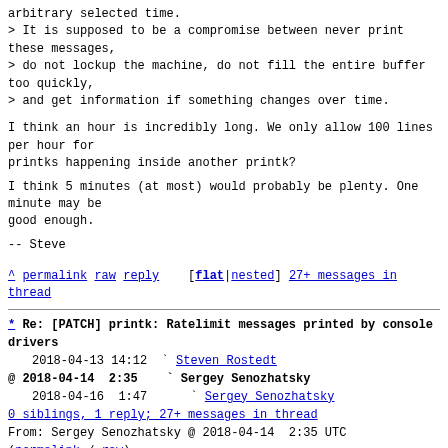arbitrary selected time.
> It is supposed to be a compromise between never print these messages,
> do not lockup the machine, do not fill the entire buffer too quickly,
> and get information if something changes over time.
I think an hour is incredibly long. We only allow 100 lines per hour for
printks happening inside another printk?
I think 5 minutes (at most) would probably be plenty. One minute may be
good enough.
-- Steve
^ permalink raw reply   [flat|nested] 27+ messages in thread
* Re: [PATCH] printk: Ratelimit messages printed by console drivers
   2018-04-13 14:12  ` Steven Rostedt
@ 2018-04-14  2:35    ` Sergey Senozhatsky
   2018-04-16  1:47      ` Sergey Senozhatsky
   0 siblings, 1 reply; 27+ messages in thread
From: Sergey Senozhatsky @ 2018-04-14  2:35 UTC (permalink / raw)